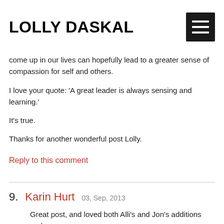LOLLY DASKAL
come up in our lives can hopefully lead to a greater sense of compassion for self and others.
I love your quote: ‘A great leader is always sensing and learning.’
It’s true.
Thanks for another wonderful post Lolly.
Reply to this comment
9. Karin Hurt  03, Sep, 2013
Great post, and loved both Alli’s and Jon’s additions and